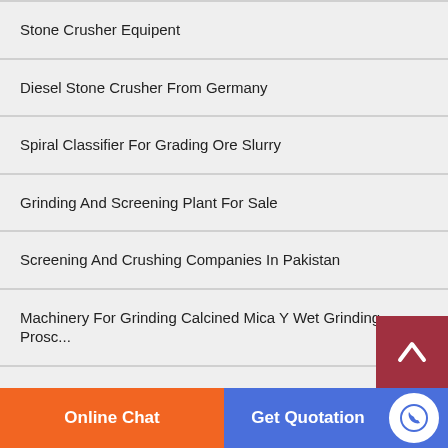Stone Crusher Equipent
Diesel Stone Crusher From Germany
Spiral Classifier For Grading Ore Slurry
Grinding And Screening Plant For Sale
Screening And Crushing Companies In Pakistan
Machinery For Grinding Calcined Mica Y Wet Grinding Prosc...
Marubeni Slag Grinding Mill
Hand Screen Bonjour...
Online Chat
Get Quotation